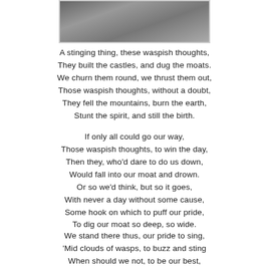[Figure (photo): Black and white photograph of people, partially visible at top of page]
A stinging thing, these waspish thoughts,
They built the castles, and dug the moats.
We churn them round, we thrust them out,
Those waspish thoughts, without a doubt,
They fell the mountains, burn the earth,
Stunt the spirit, and still the birth.
If only all could go our way,
Those waspish thoughts, to win the day,
Then they, who'd dare to do us down,
Would fall into our moat and drown.
Or so we'd think, but so it goes,
With never a day without some cause,
Some hook on which to puff our pride,
To dig our moat so deep, so wide.
We stand there thus, our pride to sing,
'Mid clouds of wasps, to buzz and sting
When should we not, to be our best,
Heal first our selves, and forget the rest?